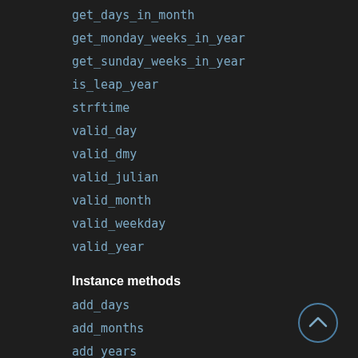get_days_in_month
get_monday_weeks_in_year
get_sunday_weeks_in_year
is_leap_year
strftime
valid_day
valid_dmy
valid_julian
valid_month
valid_weekday
valid_year
Instance methods
add_days
add_months
add_years
clamp